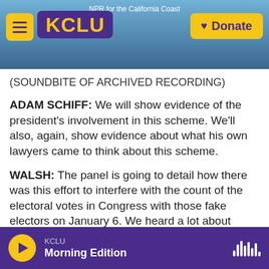KCLU — NPR for the California Coast
(SOUNDBITE OF ARCHIVED RECORDING)
ADAM SCHIFF: We will show evidence of the president's involvement in this scheme. We'll also, again, show evidence about what his own lawyers came to think about this scheme.
WALSH: The panel is going to detail how there was this effort to interfere with the count of the electoral votes in Congress with those fake electors on January 6. We heard a lot about Trump outside legal advisor John Eastman in the last hearing. Today, we expect we're going to hear more
KCLU
Morning Edition